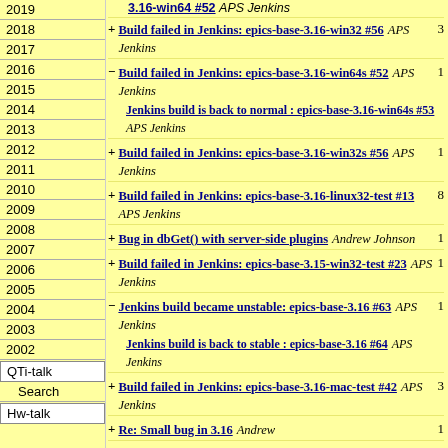2019
2018
2017
2016
2015
2014
2013
2012
2011
2010
2009
2008
2007
2006
2005
2004
2003
2002
QTi-talk
Search
Hw-talk
+ Build failed in Jenkins: epics-base-3.16-win64 #52 APS Jenkins (top, partial)
+ Build failed in Jenkins: epics-base-3.16-win32 #56 APS Jenkins 3
- Build failed in Jenkins: epics-base-3.16-win64s #52 APS Jenkins 1 / Jenkins build is back to normal : epics-base-3.16-win64s #53 APS Jenkins
+ Build failed in Jenkins: epics-base-3.16-win32s #56 APS Jenkins 1
+ Build failed in Jenkins: epics-base-3.16-linux32-test #13 APS Jenkins 8
+ Bug in dbGet() with server-side plugins Andrew Johnson 1
+ Build failed in Jenkins: epics-base-3.15-win32-test #23 APS Jenkins 1
- Jenkins build became unstable: epics-base-3.16 #63 APS Jenkins 1 / Jenkins build is back to stable : epics-base-3.16 #64 APS Jenkins
+ Build failed in Jenkins: epics-base-3.16-mac-test #42 APS Jenkins 3
+ Re: Small bug in 3.16 Andrew 1